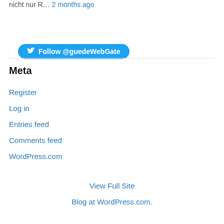nicht nur R… 2 months ago
Follow @guedeWebGate
Meta
Register
Log in
Entries feed
Comments feed
WordPress.com
View Full Site
Blog at WordPress.com.